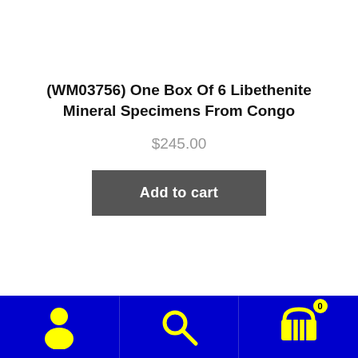(WM03756) One Box Of 6 Libethenite Mineral Specimens From Congo
$245.00
Add to cart
[Figure (infographic): Blue bottom navigation bar with three icons: a yellow person/user icon on the left, a yellow magnifying glass search icon in the center, and a yellow shopping cart icon with a yellow badge showing '0' on the right.]